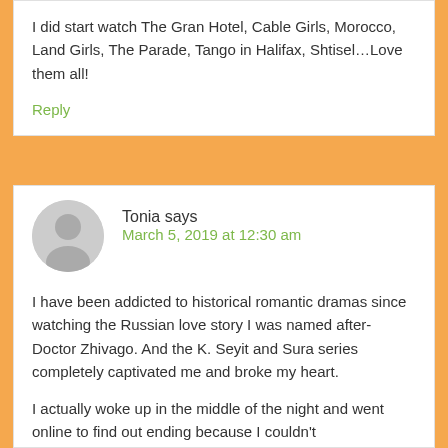I did start watch The Gran Hotel, Cable Girls, Morocco, Land Girls, The Parade, Tango in Halifax, Shtisel…Love them all!
Reply
Tonia says
March 5, 2019 at 12:30 am
I have been addicted to historical romantic dramas since watching the Russian love story I was named after- Doctor Zhivago. And the K. Seyit and Sura series completely captivated me and broke my heart.
I actually woke up in the middle of the night and went online to find out ending because I couldn't